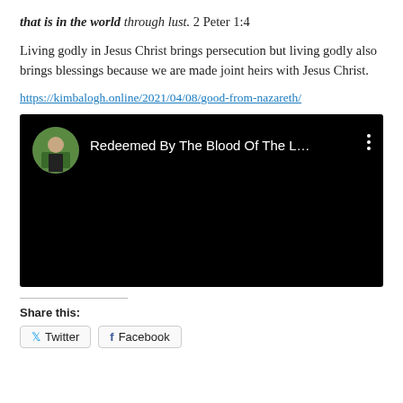that is in the world through lust. 2 Peter 1:4
Living godly in Jesus Christ brings persecution but living godly also brings blessings because we are made joint heirs with Jesus Christ.
https://kimbalogh.online/2021/04/08/good-from-nazareth/
[Figure (screenshot): YouTube video embed showing 'Redeemed By The Blood Of The L...' with a circular avatar of a person outdoors on the left, video title in white text on black background, and a vertical three-dot menu icon on the right.]
Share this:
Twitter  Facebook